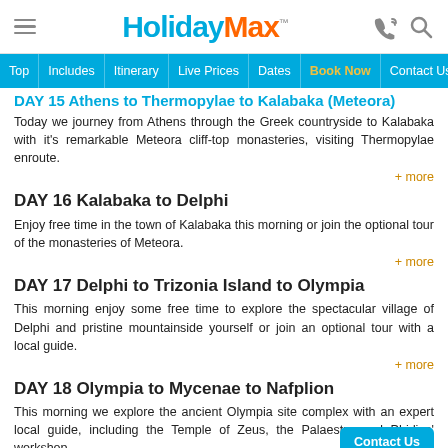HolidayMax
Top | Includes | Itinerary | Live Prices | Dates | Book Now | Contact Us
DAY 15 Athens to Thermopylae to Kalabaka (Meteora)
Today we journey from Athens through the Greek countryside to Kalabaka with it's remarkable Meteora cliff-top monasteries, visiting Thermopylae enroute.
DAY 16 Kalabaka to Delphi
Enjoy free time in the town of Kalabaka this morning or join the optional tour of the monasteries of Meteora.
DAY 17 Delphi to Trizonia Island to Olympia
This morning enjoy some free time to explore the spectacular village of Delphi and pristine mountainside yourself or join an optional tour with a local guide.
DAY 18 Olympia to Mycenae to Nafplion
This morning we explore the ancient Olympia site complex with an expert local guide, including the Temple of Zeus, the Palaestra and Phidias' workshop.